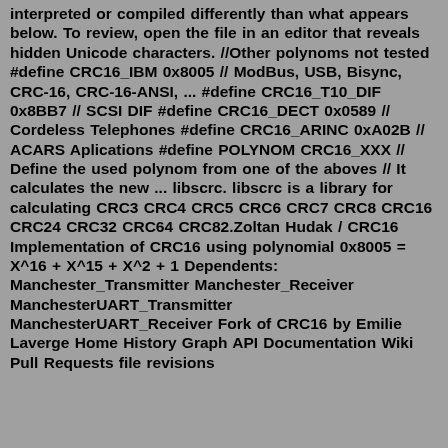interpreted or compiled differently than what appears below. To review, open the file in an editor that reveals hidden Unicode characters. //Other polynoms not tested #define CRC16_IBM 0x8005 // ModBus, USB, Bisync, CRC-16, CRC-16-ANSI, ... #define CRC16_T10_DIF 0x8BB7 // SCSI DIF #define CRC16_DECT 0x0589 // Cordeless Telephones #define CRC16_ARINC 0xA02B // ACARS Aplications #define POLYNOM CRC16_XXX // Define the used polynom from one of the aboves // It calculates the new ... libscrc. libscrc is a library for calculating CRC3 CRC4 CRC5 CRC6 CRC7 CRC8 CRC16 CRC24 CRC32 CRC64 CRC82.Zoltan Hudak / CRC16 Implementation of CRC16 using polynomial 0x8005 = X^16 + X^15 + X^2 + 1 Dependents: Manchester_Transmitter Manchester_Receiver ManchesterUART_Transmitter ManchesterUART_Receiver Fork of CRC16 by Emilie Laverge Home History Graph API Documentation Wiki Pull Requests file revisions